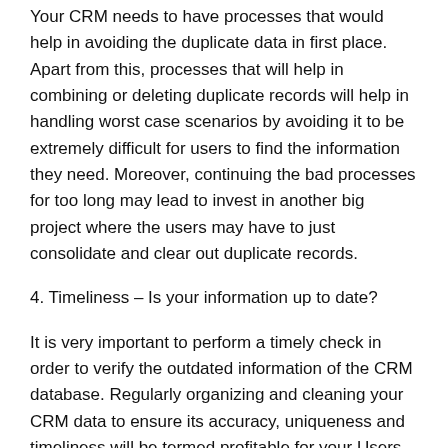Your CRM needs to have processes that would help in avoiding the duplicate data in first place. Apart from this, processes that will help in combining or deleting duplicate records will help in handling worst case scenarios by avoiding it to be extremely difficult for users to find the information they need. Moreover, continuing the bad processes for too long may lead to invest in another big project where the users may have to just consolidate and clear out duplicate records.
4. Timeliness – Is your information up to date?
It is very important to perform a timely check in order to verify the outdated information of the CRM database. Regularly organizing and cleaning your CRM data to ensure its accuracy, uniqueness and timeliness will be termed profitable for your Users to handle the Customer